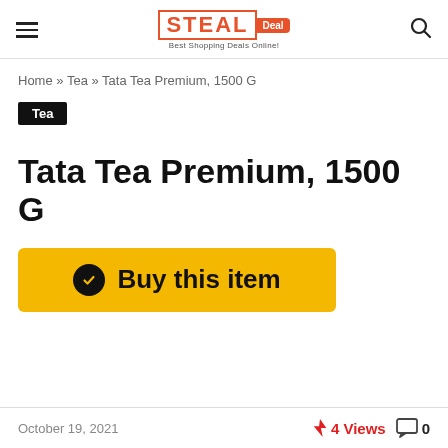STEAL Deal — Best Shopping Deals Online
Home » Tea » Tata Tea Premium, 1500 G
Tea
Tata Tea Premium, 1500 G
Buy this item
October 19, 2021   4 Views   0